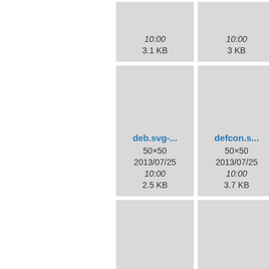[Figure (screenshot): File browser thumbnail grid showing icon cards with filenames, dimensions (50×50), dates (2013/07/25 10:00), and file sizes. Cards visible: top row partial (10:00, 3.1 KB), (10:00, 3 KB), and partial right edge; second row: deb.svg-... (50×50, 2013/07/25, 10:00, 2.5 KB), defcon.s... (50×50, 2013/07/25, 10:00, 3.7 KB), and partial right edge; third row: deskbar-... (50×50, 2013/07/25, 10:00), desktop-... (50×50, 2013/07/25, 10:00), and partial right edge.]